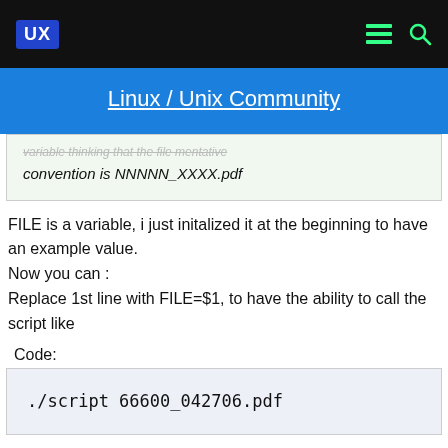UX | Linux / Unix Community
convention is NNNNN_XXXX.pdf
FILE is a variable, i just initalized it at the beginning to have an example value.
Now you can :
Replace 1st line with FILE=$1, to have the ability to call the script like
Code:
./script 66600_042706.pdf